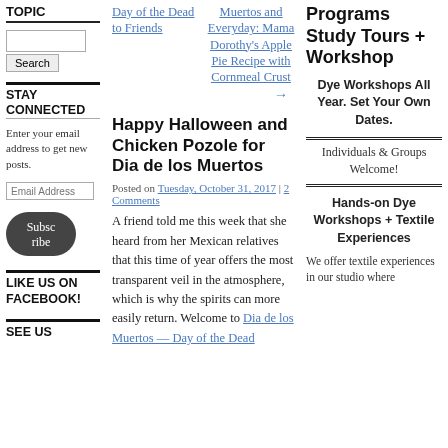TOPIC
Search
STAY CONNECTED
Enter your email address to get new posts.
Email Address
Subscribe
LIKE US ON FACEBOOK!
SEE US
Day of the Dead to Friends
Muertos and Everyday: Mama Dorothy's Apple Pie Recipe with Cornmeal Crust
Happy Halloween and Chicken Pozole for Dia de los Muertos
Posted on Tuesday, October 31, 2017 | 2 Comments
A friend told me this week that she heard from her Mexican relatives that this time of year offers the most transparent veil in the atmosphere, which is why the spirits can more easily return. Welcome to Dia de los Muertos — Day of the Dead
Programs Study Tours + Workshop
Dye Workshops All Year. Set Your Own Dates.
Individuals & Groups Welcome!
Hands-on Dye Workshops + Textile Experiences
We offer textile experiences in our studio where